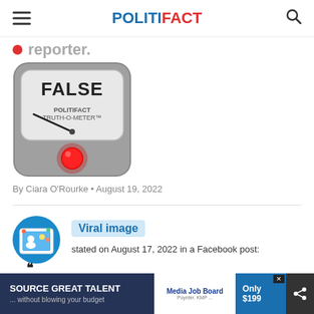POLITIFACT
reporter.
[Figure (illustration): PolitiFact Truth-O-Meter gauge showing FALSE rating with red indicator light]
By Ciara O'Rourke • August 19, 2022
[Figure (logo): Viral image icon - circular badge with people and photo frame]
Viral image stated on August 17, 2022 in a Facebook post:
"Tulsi Gabbard Names Nance Pe...s to